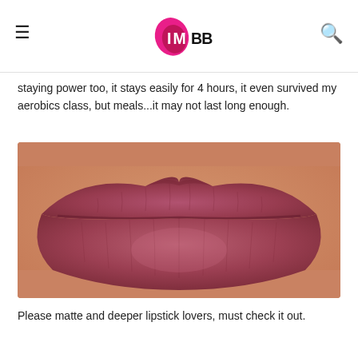IMBB
staying power too, it stays easily for 4 hours, it even survived my aerobics class, but meals...it may not last long enough.
[Figure (photo): Close-up photo of lips wearing a matte rose-pink lipstick]
Please matte and deeper lipstick lovers, must check it out.